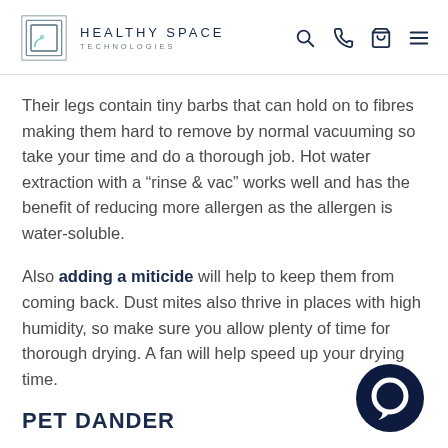HEALTHY SPACE TECHNOLOGIES
Their legs contain tiny barbs that can hold on to fibres making them hard to remove by normal vacuuming so take your time and do a thorough job. Hot water extraction with a “rinse & vac” works well and has the benefit of reducing more allergen as the allergen is water-soluble.
Also adding a miticide will help to keep them from coming back. Dust mites also thrive in places with high humidity, so make sure you allow plenty of time for thorough drying. A fan will help speed up your drying time.
PET DANDER